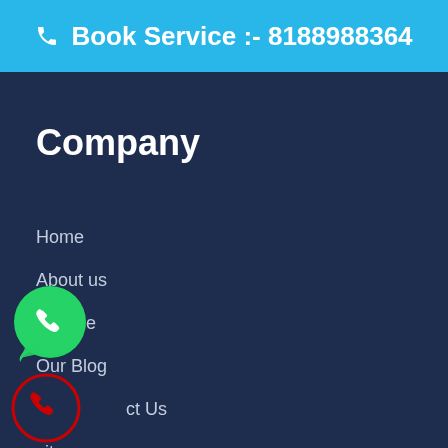📞 Book Service :- 8188988364
Company
Home
About us
Service
Our Blog
Contact Us
sitemap
[Figure (logo): WhatsApp green bubble icon]
[Figure (logo): Red phone circle icon]